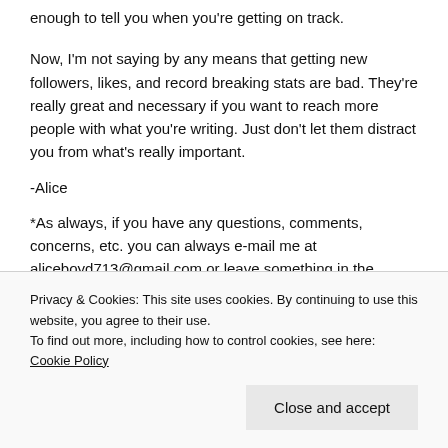enough to tell you when you're getting on track.
Now, I'm not saying by any means that getting new followers, likes, and record breaking stats are bad. They're really great and necessary if you want to reach more people with what you're writing. Just don't let them distract you from what's really important.
-Alice
*As always, if you have any questions, comments, concerns, etc. you can always e-mail me at aliceboyd713@gmail.com or leave something in the
Privacy & Cookies: This site uses cookies. By continuing to use this website, you agree to their use.
To find out more, including how to control cookies, see here: Cookie Policy
Close and accept